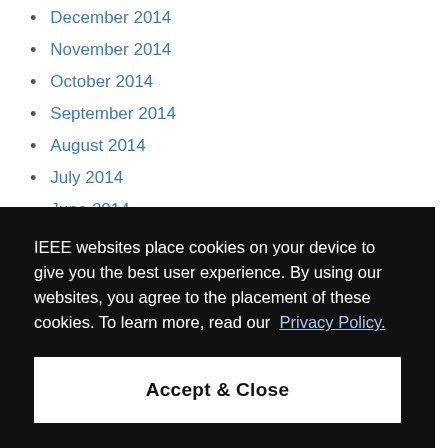December 2014
November 2014
October 2014
September 2014
August 2014
July 2014
June 2014
May 2014
April 2014
March 2014
IEEE websites place cookies on your device to give you the best user experience. By using our websites, you agree to the placement of these cookies. To learn more, read our Privacy Policy.
Accept & Close
February 2013